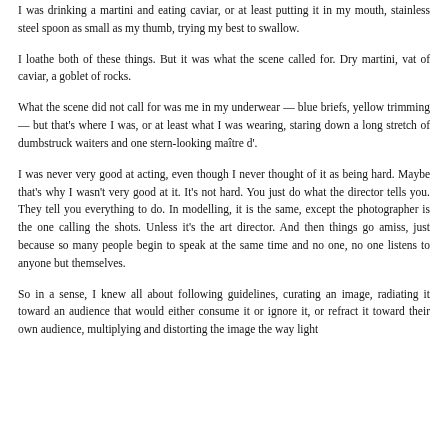I was drinking a martini and eating caviar, or at least putting it in my mouth, stainless steel spoon as small as my thumb, trying my best to swallow.
I loathe both of these things. But it was what the scene called for. Dry martini, vat of caviar, a goblet of rocks.
What the scene did not call for was me in my underwear — blue briefs, yellow trimming— but that's where I was, or at least what I was wearing, staring down a long stretch of dumbstruck waiters and one stern-looking maître d'.
I was never very good at acting, even though I never thought of it as being hard. Maybe that's why I wasn't very good at it. It's not hard. You just do what the director tells you. They tell you everything to do. In modelling, it is the same, except the photographer is the one calling the shots. Unless it's the art director. And then things go amiss, just because so many people begin to speak at the same time and no one, no one listens to anyone but themselves.
So in a sense, I knew all about following guidelines, curating an image, radiating it toward an audience that would either consume it or ignore it, or refract it toward their own audience, multiplying and distorting the image the way light